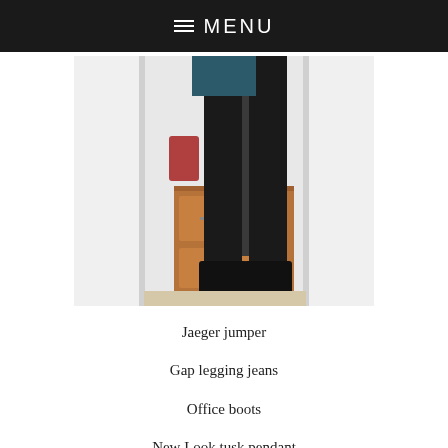≡ MENU
[Figure (photo): Mirror selfie photo showing lower body of a person wearing dark legging jeans and black boots, with a wooden dresser visible in the background]
Jaeger jumper
Gap legging jeans
Office boots
New Look tusk pendant
Apologies for continuing along with my current love affair of the shirt and sweater ensemble, it shows no sign of waning either as with my lifestyle (basically I'm pretty boring with it revolving around school or work!) this look has been a perfect way of up-dating my wardrobe this season so I'm sticking with it! Sorry if I'm boring the pants off you but next time I promise there will be something a bit different as I'm off to a christening at the weekend which will require something a tad more